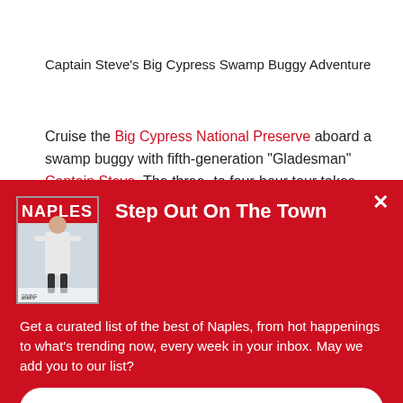Captain Steve's Big Cypress Swamp Buggy Adventure
Cruise the Big Cypress National Preserve aboard a swamp buggy with fifth-generation “Gladesman” Captain Steve. The three- to four-hour tour takes guests deep into the preserve
Step Out On The Town
Get a curated list of the best of Naples, from hot happenings to what’s trending now, every week in your inbox. May we add you to our list?
Sign Me Up!